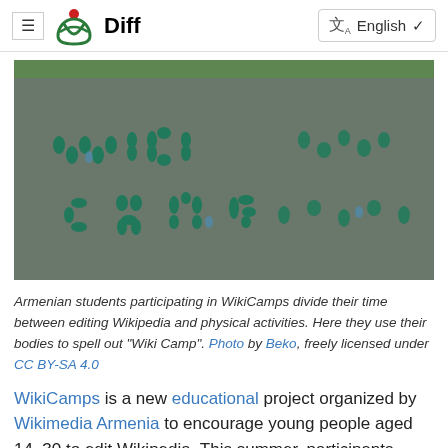≡ Diff | 文A English ∨
[Figure (photo): Aerial view of Armenian students forming the words 'WIKI CAMP' with their bodies on a concrete surface, wearing teal/green uniforms.]
Armenian students participating in WikiCamps divide their time between editing Wikipedia and physical activities. Here they use their bodies to spell out "Wiki Camp". Photo by Beko, freely licensed under CC BY-SA 4.0
WikiCamps is a new educational project organized by Wikimedia Armenia to encourage young people aged 14–30 to edit Wikipedia. This summer, participants...